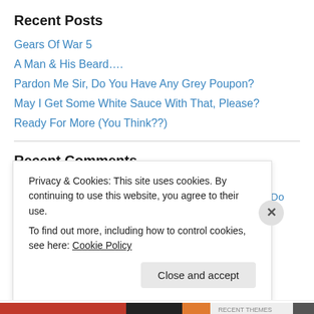Recent Posts
Gears Of War 5
A Man & His Beard….
Pardon Me Sir, Do You Have Any Grey Poupon?
May I Get Some White Sauce With That, Please?
Ready For More (You Think??)
Recent Comments
Paul and the Backlog on Pardon Me Sir, Do You Have Any…
Privacy & Cookies: This site uses cookies. By continuing to use this website, you agree to their use.
To find out more, including how to control cookies, see here: Cookie Policy
Close and accept